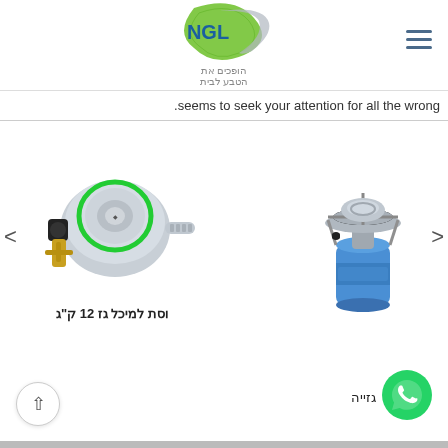[Figure (logo): NGL logo with green leaf shape and Hebrew tagline הופכים את הטבע לבית]
.seems to seek your attention for all the wrong
[Figure (photo): Gas regulator product image - silver and brass regulator for 12kg gas]
וסת למיכל גז 12 ק"ג
[Figure (photo): Portable camping gas stove with blue gas canister]
גזייה